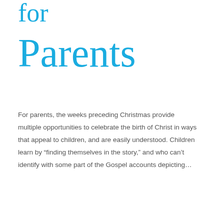for
Parents
For parents, the weeks preceding Christmas provide multiple opportunities to celebrate the birth of Christ in ways that appeal to children, and are easily understood. Children learn by “finding themselves in the story,” and who can’t identify with some part of the Gospel accounts depicting…